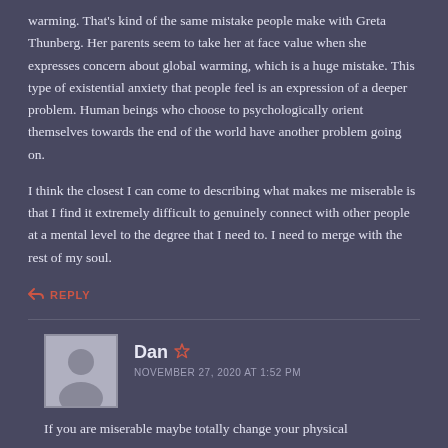warming. That's kind of the same mistake people make with Greta Thunberg. Her parents seem to take her at face value when she expresses concern about global warming, which is a huge mistake. This type of existential anxiety that people feel is an expression of a deeper problem. Human beings who choose to psychologically orient themselves towards the end of the world have another problem going on.

I think the closest I can come to describing what makes me miserable is that I find it extremely difficult to genuinely connect with other people at a mental level to the degree that I need to. I need to merge with the rest of my soul.
REPLY
Dan
NOVEMBER 27, 2020 AT 1:52 PM
If you are miserable maybe totally change your physical